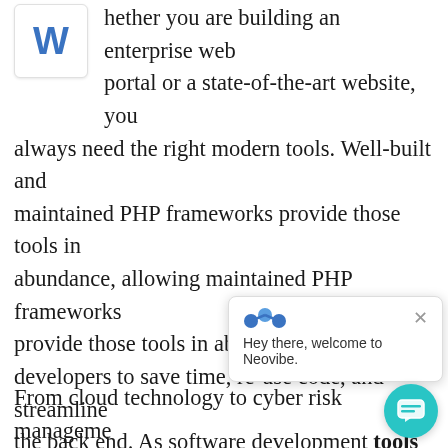[Figure (logo): Letter W logo in blue on white card with border]
hether you are building an enterprise web portal or a state-of-the-art website, you always need the right modern tools. Well-built and maintained PHP frameworks provide those tools in abundance, allowing maintained PHP frameworks provide those tools in abundance, allowing developers to save time, re-use code, and streamline the back end. As software development tools continuously change to follow the latest. Despite the competition from startups and the ever-present economic challenges, [text obscured] gradually adopting wh[at frameworks] have to offer.
[Figure (screenshot): Chat popup overlay from Neovibe with blue dot icon and X close button, text: Hey there, welcome to Neovibe.]
From cloud technology to cyber risk management, machine learning in investment banking, join us as